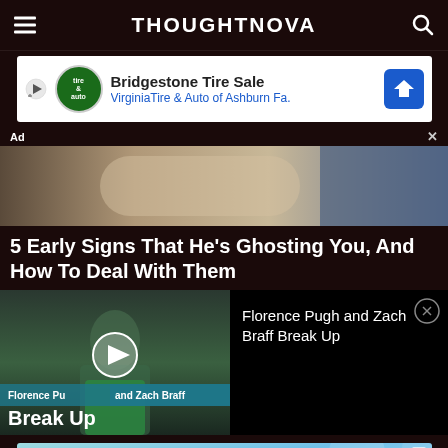THOUGHTNOVA
[Figure (screenshot): Bridgestone Tire Sale advertisement banner - Virginia Tire & Auto of Ashburn Fa.]
Ad
[Figure (photo): Hero image showing a person seated, muted warm tones]
5 Early Signs That He's Ghosting You, And How To Deal With Them
[Figure (screenshot): Video player thumbnail showing Florence Pugh and Zach Braff Break Up with play button overlay]
Florence Pugh and Zach Braff Break Up
[Figure (screenshot): HEADERBIDDING.COM advertisement - Your source for all things programmatic advertising.]